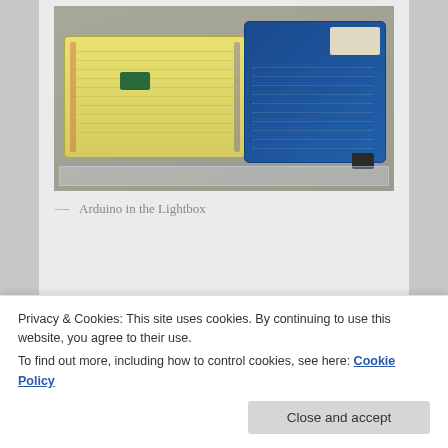[Figure (photo): Photo of an Arduino microcontroller shield and a yellow breadboard with a small green component, placed in a clear acrylic lightbox tray on a grey fabric surface.]
— Arduino in the Lightbox
My other pickup was a photography lightbox from a company called Cowboy Studio. Taking pictures on my desk don't always turn out the best so I'm hoping this
Privacy & Cookies: This site uses cookies. By continuing to use this website, you agree to their use.
To find out more, including how to control cookies, see here: Cookie Policy